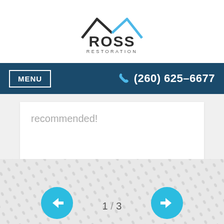[Figure (logo): Ross Restoration logo with roof/house icon in black and blue above the text ROSS RESTORATION]
MENU  (260) 625-6677
recommended!
[Figure (other): Decorative dotted pattern background in light gray]
← 1 / 3 →